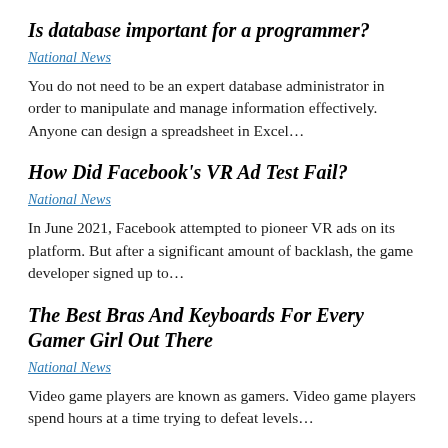Is database important for a programmer?
National News
You do not need to be an expert database administrator in order to manipulate and manage information effectively. Anyone can design a spreadsheet in Excel...
How Did Facebook's VR Ad Test Fail?
National News
In June 2021, Facebook attempted to pioneer VR ads on its platform. But after a significant amount of backlash, the game developer signed up to...
The Best Bras And Keyboards For Every Gamer Girl Out There
National News
Video game players are known as gamers. Video game players spend hours at a time trying to defeat levels...